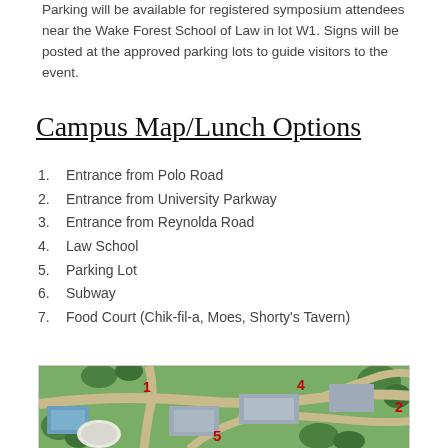Parking will be available for registered symposium attendees near the Wake Forest School of Law in lot W1. Signs will be posted at the approved parking lots to guide visitors to the event.
Campus Map/Lunch Options
1. Entrance from Polo Road
2. Entrance from University Parkway
3. Entrance from Reynolda Road
4. Law School
5. Parking Lot
6. Subway
7. Food Court (Chik-fil-a, Moes, Shorty's Tavern)
[Figure (map): Campus map showing numbered locations: 1-Entrance from Polo Road, 2-Entrance from University Parkway, 3-Entrance from Reynolda Road, 4-Law School, 5-Parking Lot, 6-Subway, 7-Food Court. Aerial/illustrated campus map with roads, buildings, and green areas visible.]